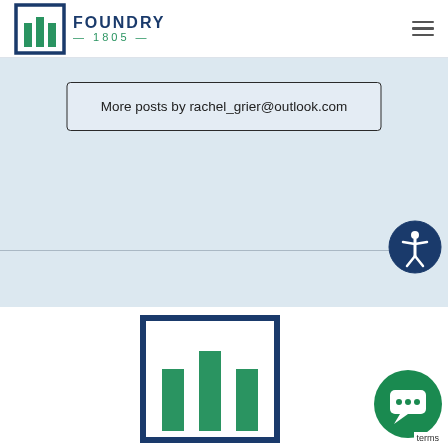[Figure (logo): Foundry 1805 logo with navy blue square icon containing green building shapes, and text 'FOUNDRY 1805' to the right]
More posts by rachel_grier@outlook.com
[Figure (logo): Large Foundry 1805 building icon mark in navy blue and green]
[Figure (illustration): Green chat bubble icon with speech bubble symbol]
terms